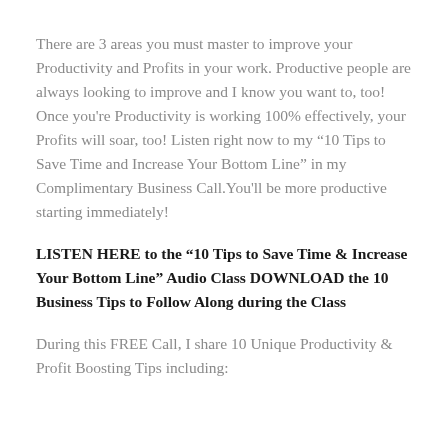There are 3 areas you must master to improve your Productivity and Profits in your work. Productive people are always looking to improve and I know you want to, too!  Once you're Productivity is working 100% effectively, your Profits will soar, too! Listen right now to my “10 Tips to Save Time and Increase Your Bottom Line” in my Complimentary Business Call.You'll be more productive starting immediately!
LISTEN HERE to the “10 Tips to Save Time & Increase Your Bottom Line” Audio Class DOWNLOAD the 10 Business Tips to Follow Along during the Class
During this FREE Call, I share 10 Unique Productivity & Profit Boosting Tips including: